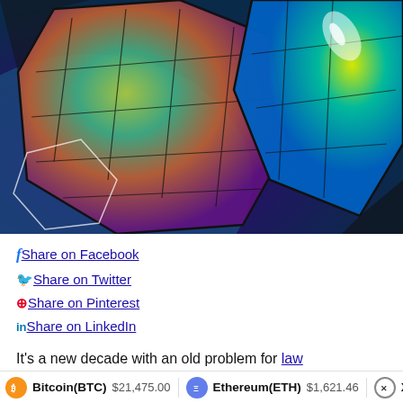[Figure (illustration): Colorful abstract illustration of geometric shield/gem shapes with rainbow gradient colors — greens, yellows, blues, purples — on a dark background with neon highlights.]
Share on Facebook
Share on Twitter
Share on Pinterest
Share on LinkedIn
It's a new decade with an old problem for law enforcement officials: How do you stop cybercriminals from stealing billions of dollars in cryptocurrency and using it for illicit purposes? These
Bitcoin(BTC) $21,475.00   Ethereum(ETH) $1,621.46   XRP